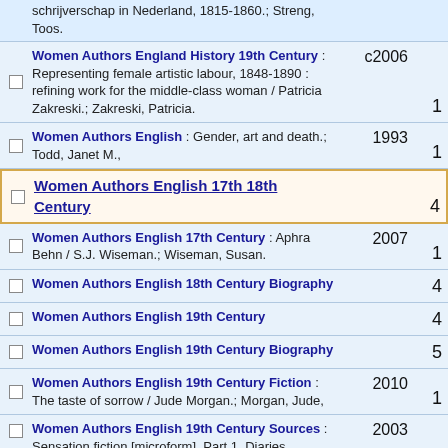schrijverschap in Nederland, 1815-1860.; Streng, Toos.
Women Authors England History 19th Century : Representing female artistic labour, 1848-1890 : refining work for the middle-class woman / Patricia Zakreski.; Zakreski, Patricia. c2006 1
Women Authors English : Gender, art and death.; Todd, Janet M., 1993 1
Women Authors English 17th 18th Century 4
Women Authors English 17th Century : Aphra Behn / S.J. Wiseman.; Wiseman, Susan. 2007 1
Women Authors English 18th Century Biography 4
Women Authors English 19th Century 4
Women Authors English 19th Century Biography 5
Women Authors English 19th Century Fiction : The taste of sorrow / Jude Morgan.; Morgan, Jude, 2010 1
Women Authors English 19th Century Sources : Sensation fiction [microform]. Part 1, Diaries, notebooks and literary manuscripts of Mary Elizabeth Braddon (1835-1915) from the Harry Ransom Humanities Research Center, University of Texas, Austin.; Braddon, M. E. 2003 1